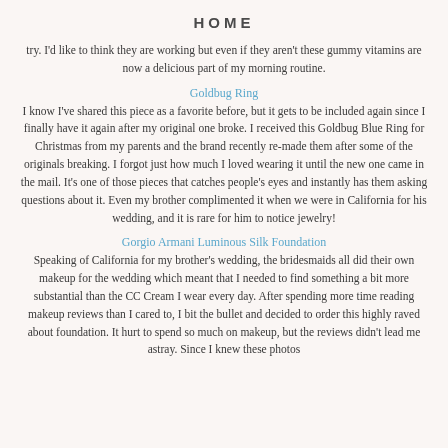HOME
try. I'd like to think they are working but even if they aren't these gummy vitamins are now a delicious part of my morning routine.
Goldbug Ring
I know I've shared this piece as a favorite before, but it gets to be included again since I finally have it again after my original one broke. I received this Goldbug Blue Ring for Christmas from my parents and the brand recently re-made them after some of the originals breaking. I forgot just how much I loved wearing it until the new one came in the mail. It's one of those pieces that catches people's eyes and instantly has them asking questions about it. Even my brother complimented it when we were in California for his wedding, and it is rare for him to notice jewelry!
Gorgio Armani Luminous Silk Foundation
Speaking of California for my brother's wedding, the bridesmaids all did their own makeup for the wedding which meant that I needed to find something a bit more substantial than the CC Cream I wear every day. After spending more time reading makeup reviews than I cared to, I bit the bullet and decided to order this highly raved about foundation. It hurt to spend so much on makeup, but the reviews didn't lead me astray. Since I knew these photos